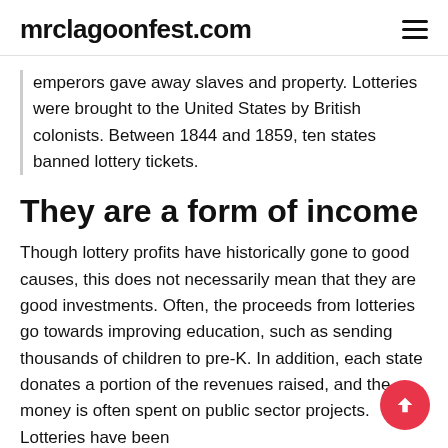mrclagoonfest.com
emperors gave away slaves and property. Lotteries were brought to the United States by British colonists. Between 1844 and 1859, ten states banned lottery tickets.
They are a form of income
Though lottery profits have historically gone to good causes, this does not necessarily mean that they are good investments. Often, the proceeds from lotteries go towards improving education, such as sending thousands of children to pre-K. In addition, each state donates a portion of the revenues raised, and the money is often spent on public sector projects. Lotteries have been